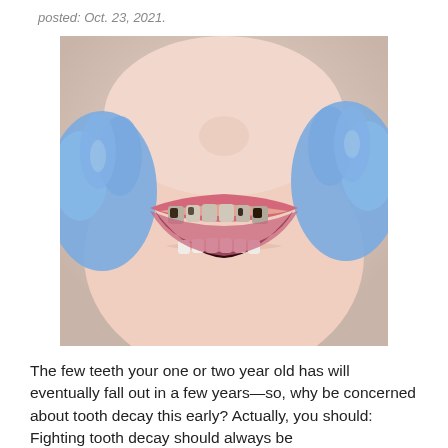posted: Oct. 23, 2021.
[Figure (photo): Close-up photo of a child's open mouth being held open by gloved hands (blue nitrile gloves), showing decayed primary teeth with dark cavities on the upper teeth and healthy lower teeth.]
The few teeth your one or two year old has will eventually fall out in a few years—so, why be concerned about tooth decay this early? Actually, you should: Fighting tooth decay should always be